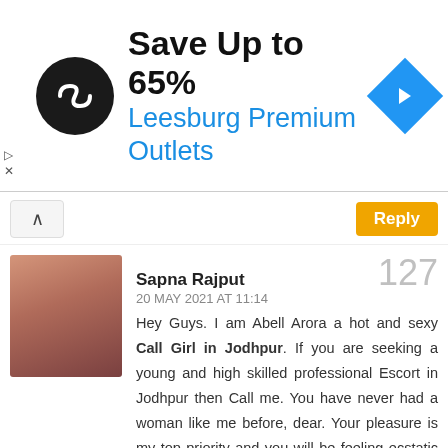[Figure (other): Advertisement banner: black circular logo with infinity-like symbol, text 'Save Up to 65%' in black bold, 'Leesburg Premium Outlets' in blue, blue diamond navigation icon on right]
Sapna Rajput
20 MAY 2021 AT 11:14
Hey Guys. I am Abell Arora a hot and sexy Call Girl in Jodhpur. If you are seeking a young and high skilled professional Escort in Jodhpur then Call me. You have never had a woman like me before, dear. Your pleasure is my top priority and you will be feeling ecstatic about the whole encounter. Book me. Are you fed up with monotonous sex? You must look for newness in a diverse world. You will always have the options of entertainment at any time of day or night. Here